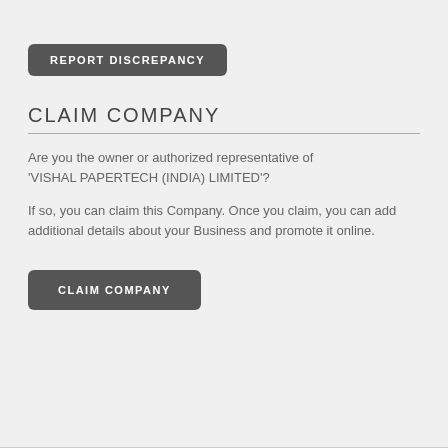[Figure (other): Button labeled REPORT DISCREPANCY with dark gray rounded rectangle background]
CLAIM COMPANY
Are you the owner or authorized representative of 'VISHAL PAPERTECH (INDIA) LIMITED'?
If so, you can claim this Company. Once you claim, you can add additional details about your Business and promote it online.
[Figure (other): Button labeled CLAIM COMPANY with dark gray rounded rectangle background]